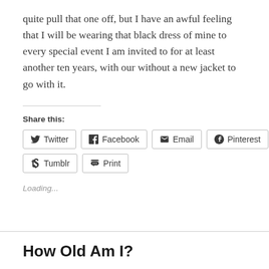quite pull that one off, but I have an awful feeling that I will be wearing that black dress of mine to every special event I am invited to for at least another ten years, with our without a new jacket to go with it.
Share this:
Twitter  Facebook  Email  Pinterest  Tumblr  Print
Loading...
How Old Am I?